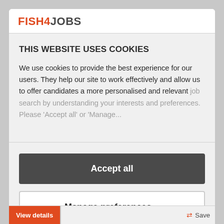[Figure (logo): Fish4Jobs logo with FISH4 in orange/red and JOBS in dark grey]
THIS WEBSITE USES COOKIES
We use cookies to provide the best experience for our users. They help our site to work effectively and allow us to offer candidates a more personalised and relevant job search by understanding your interests and preferences. Please 'Accept all' or 'Manage...
Accept all
Manage preferences >
View details
Save